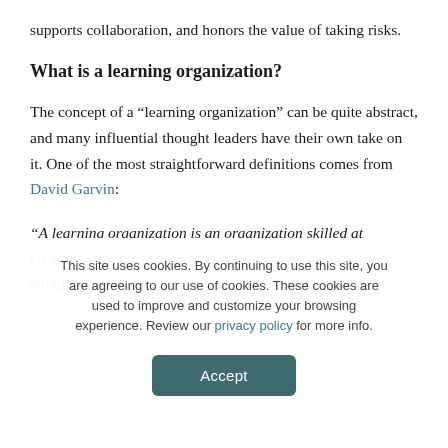supports collaboration, and honors the value of taking risks.
What is a learning organization?
The concept of a “learning organization” can be quite abstract, and many influential thought leaders have their own take on it. One of the most straightforward definitions comes from David Garvin:
“A learning organization is an organization skilled at creating, acquiring, and transferring knowledge, and at modifying its behavior to reflect new knowledge and
This site uses cookies. By continuing to use this site, you are agreeing to our use of cookies. These cookies are used to improve and customize your browsing experience. Review our privacy policy for more info.